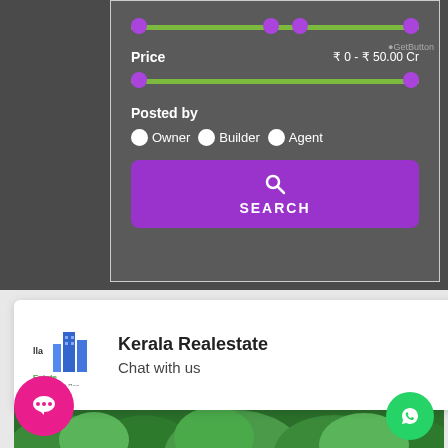[Figure (screenshot): Mobile real estate app filter UI showing price range slider, posted by radio buttons (Owner, Builder, Agent), and a purple SEARCH button. Below is a Kerala Realestate chat widget and a green landscape photo with WhatsApp and chat buttons.]
Price  ₹ 0 - ₹ 50.00 Cr
Posted by
Owner  Builder  Agent
SEARCH
Kerala Realestate
Chat with us
GetButton